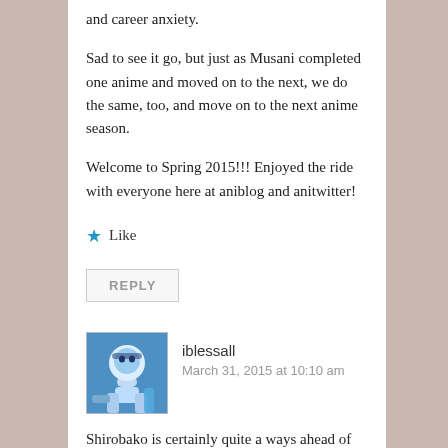and career anxiety.
Sad to see it go, but just as Musani completed one anime and moved on to the next, we do the same, too, and move on to the next anime season.
Welcome to Spring 2015!!! Enjoyed the ride with everyone here at aniblog and anitwitter!
★ Like
REPLY
iblessall
March 31, 2015 at 10:10 am
Shirobako is certainly quite a ways ahead of any other show this season (or last). We can always hold out hope for a season 2! I know I will be!
Woo, it was great to have you around in the